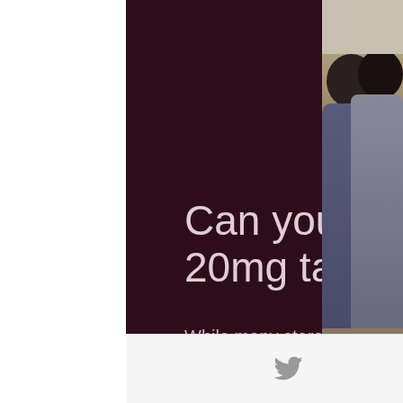Can you crush prednisone 20mg tablets
While many steroids and corticosteroids like Prednisone can be given to the patient through an injection, Prednisone itself is taken orally in the form of tablets only, not in an injection. Hence it is prescribed only by a Physician who has prescribed Prednisone for long-term, long-term use.
The reason it is administered through a
[Figure (photo): Photo of two women smiling, partially visible on right side of page]
Twitter icon | Table/grid icon